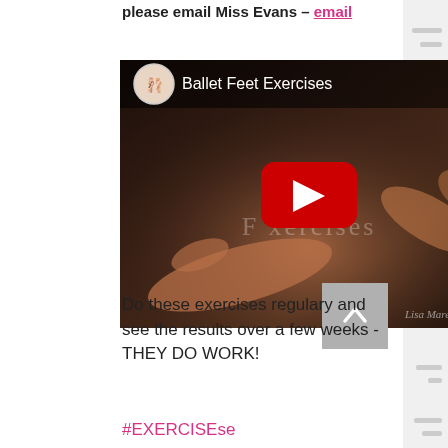please email Miss Evans – email
[Figure (screenshot): YouTube video thumbnail titled 'Ballet Feet Exercises' showing ballet dancer feet on a dark background with a red YouTube play button in the center. The channel logo appears in the top left, and a watermark reading 'Lisa Maree' appears at the bottom right.]
Do these exercises regulary and see the results over a few weeks - THEY DO WORK!
#EXERCISEse